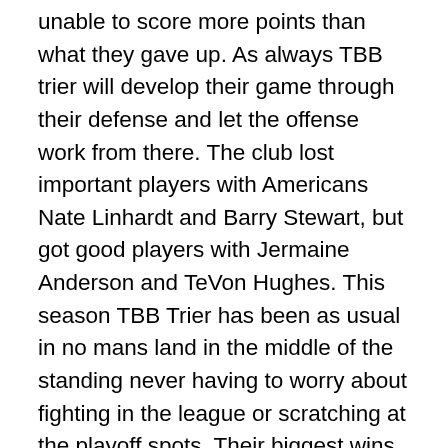unable to score more points than what they gave up. As always TBB trier will develop their game through their defense and let the offense work from there. The club lost important players with Americans Nate Linhardt and Barry Stewart, but got good players with Jermaine Anderson and TeVon Hughes. This season TBB Trier has been as usual in no mans land in the middle of the standing never having to worry about fighting in the league or scratching at the playoff spots. Their biggest wins were against Their biggest wins were against ratiopharm Ulm, the Telekom Baskets Bonn and they kept their composure winning the season series against the scrappy SC Rasta Vechta winning both games combined only by five points. At the moment, TBB Trier is in 11th place playing respectable basketball having won three of their last five games and recently lost a close battle with the Brose Baskets Bamberg in Trier. The Fraport Skyliners are ranked last...